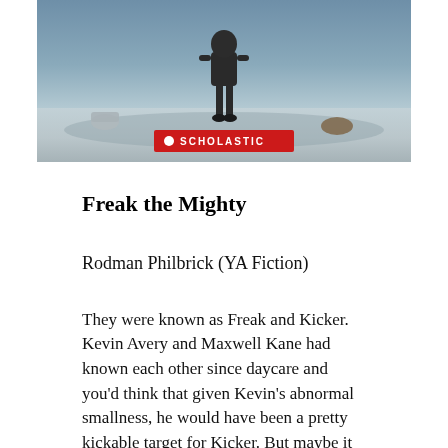[Figure (photo): Book cover for Freak the Mighty published by Scholastic, showing a figure standing against a wintry background with debris on the ground and a red Scholastic banner at the bottom]
Freak the Mighty
Rodman Philbrick (YA Fiction)
They were known as Freak and Kicker. Kevin Avery and Maxwell Kane had known each other since daycare and you'd think that given Kevin's abnormal smallness, he would have been a pretty kickable target for Kicker. But maybe it was Kevin's crutches or perhaps it was the shiny braces holding up his crooked legs. Whatever it was, he quickly captured Maxwell's imagination, and possibly even his respect.